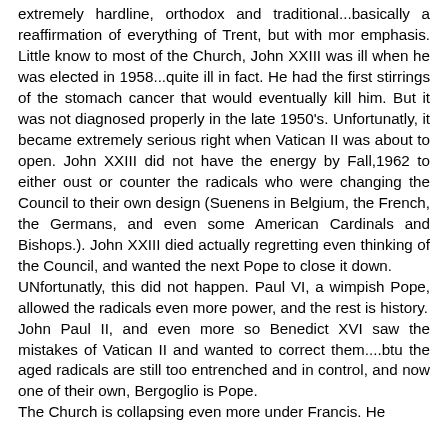extremely hardline, orthodox and traditional...basically a reaffirmation of everything of Trent, but with mor emphasis. Little know to most of the Church, John XXIII was ill when he was elected in 1958...quite ill in fact. He had the first stirrings of the stomach cancer that would eventually kill him. But it was not diagnosed properly in the late 1950's. Unfortunatly, it became extremely serious right when Vatican II was about to open. John XXIII did not have the energy by Fall,1962 to either oust or counter the radicals who were changing the Council to their own design (Suenens in Belgium, the French, the Germans, and even some American Cardinals and Bishops.). John XXIII died actually regretting even thinking of the Council, and wanted the next Pope to close it down.
UNfortunatly, this did not happen. Paul VI, a wimpish Pope, allowed the radicals even more power, and the rest is history.
John Paul II, and even more so Benedict XVI saw the mistakes of Vatican II and wanted to correct them....btu the aged radicals are still too entrenched and in control, and now one of their own, Bergoglio is Pope.
The Church is collapsing even more under Francis. He